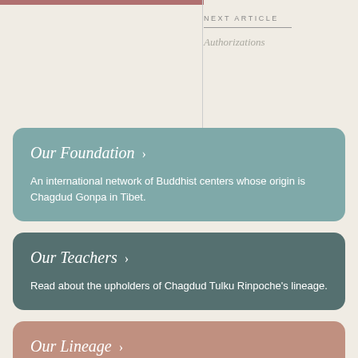NEXT ARTICLE
Authorizations
Our Foundation >
An international network of Buddhist centers whose origin is Chagdud Gonpa in Tibet.
Our Teachers >
Read about the upholders of Chagdud Tulku Rinpoche's lineage.
Our Lineage >